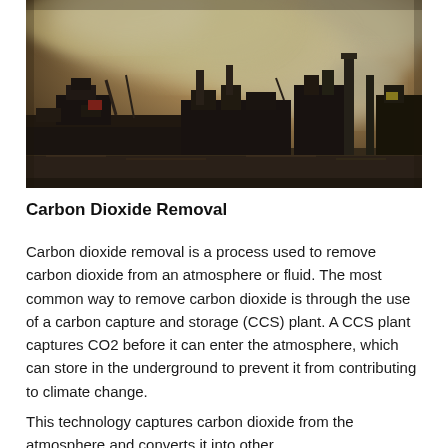[Figure (photo): Industrial facility with large cargo ships and smokestacks emitting heavy smoke against a dramatic cloudy sky, photographed across a body of water at dusk or overcast conditions.]
Carbon Dioxide Removal
Carbon dioxide removal is a process used to remove carbon dioxide from an atmosphere or fluid. The most common way to remove carbon dioxide is through the use of a carbon capture and storage (CCS) plant. A CCS plant captures CO2 before it can enter the atmosphere, which can store in the underground to prevent it from contributing to climate change.
This technology captures carbon dioxide from the atmosphere and converts it into other